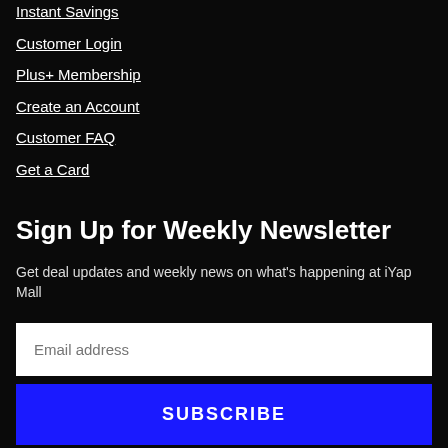Instant Savings
Customer Login
Plus+ Membership
Create an Account
Customer FAQ
Get a Card
Sign Up for Weekly Newsletter
Get deal updates and weekly news on what's happening at iYap Mall
Email address
SUBSCRIBE